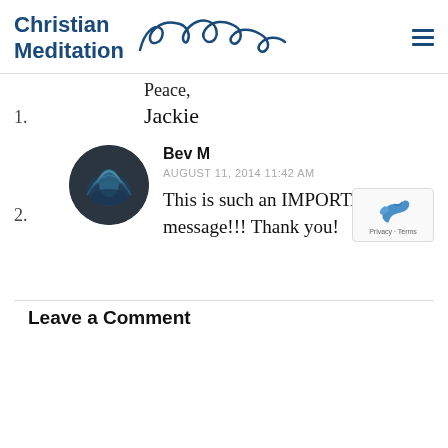Christian Meditation Jackie Troffmann
Peace,
Jackie
1.
[Figure (photo): Circular avatar image showing a blue lotus flower emblem on dark background]
Bev M
AUGUST 11, 2014 11:42 AM
This is such an IMPORTANT message!!! Thank you!
2.
Leave a Comment